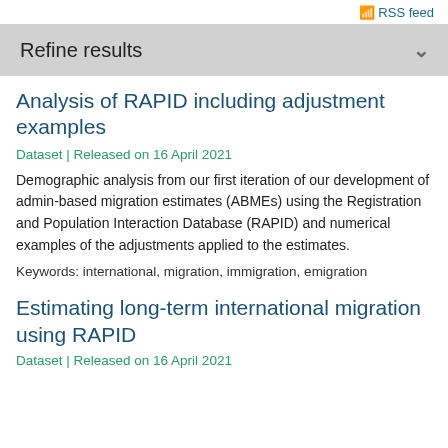RSS feed
Refine results
Analysis of RAPID including adjustment examples
Dataset | Released on 16 April 2021
Demographic analysis from our first iteration of our development of admin-based migration estimates (ABMEs) using the Registration and Population Interaction Database (RAPID) and numerical examples of the adjustments applied to the estimates.
Keywords: international, migration, immigration, emigration
Estimating long-term international migration using RAPID
Dataset | Released on 16 April 2021